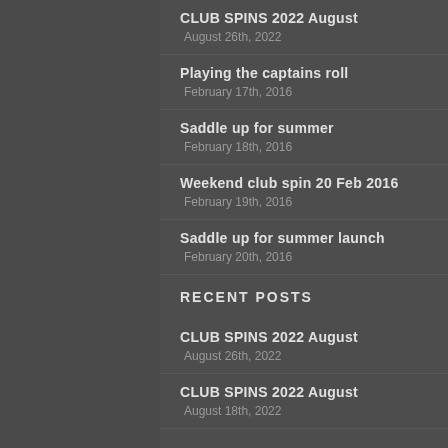CLUB SPINS 2022 August
August 26th, 2022
Playing the captains roll
February 17th, 2016
Saddle up for summer
February 18th, 2016
Weekend club spin 20 Feb 2016
February 19th, 2016
Saddle up for summer launch
February 20th, 2016
RECENT POSTS
CLUB SPINS 2022 August
August 26th, 2022
CLUB SPINS 2022 August
August 18th, 2022